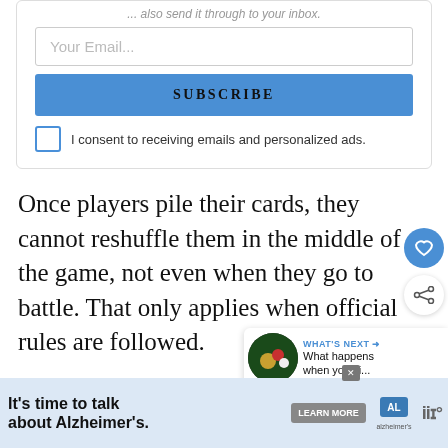[Figure (screenshot): Email subscription box with input field, Subscribe button, and consent checkbox]
Once players pile their cards, they cannot reshuffle them in the middle of the game, not even when they go to battle. That only applies when official rules are followed.
People are free to adjust the house rules if both pl...
[Figure (infographic): What's Next panel with billiard balls image and text: What happens when you si...]
[Figure (infographic): Advertisement banner: It's time to talk about Alzheimer's. Learn More. Alzheimer's Association logo.]